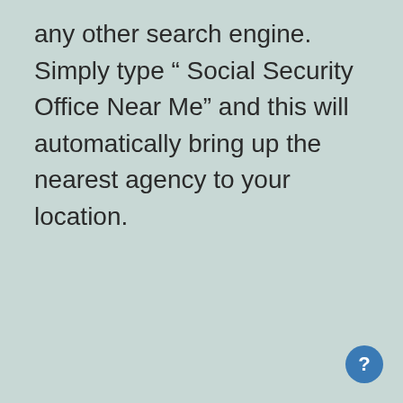any other search engine. Simply type " Social Security Office Near Me” and this will automatically bring up the nearest agency to your location.
[Figure (other): A circular blue help/question mark button icon in the bottom-right corner]